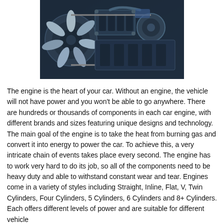[Figure (photo): Close-up photograph of a car engine showing metal components, pulleys, belts, fan blade, and various mechanical parts in dark blue-gray tones.]
The engine is the heart of your car. Without an engine, the vehicle will not have power and you won't be able to go anywhere. There are hundreds or thousands of components in each car engine, with different brands and sizes featuring unique designs and technology. The main goal of the engine is to take the heat from burning gas and convert it into energy to power the car. To achieve this, a very intricate chain of events takes place every second. The engine has to work very hard to do its job, so all of the components need to be heavy duty and able to withstand constant wear and tear. Engines come in a variety of styles including Straight, Inline, Flat, V, Twin Cylinders, Four Cylinders, 5 Cylinders, 6 Cylinders and 8+ Cylinders. Each offers different levels of power and are suitable for different vehicle